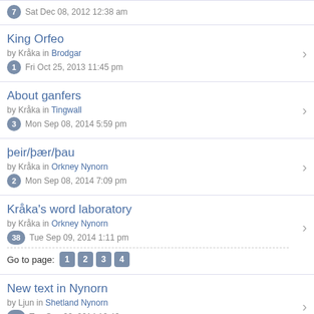7  Sat Dec 08, 2012 12:38 am
King Orfeo — by Kråka in Brodgar — 1 Fri Oct 25, 2013 11:45 pm
About ganfers — by Kråka in Tingwall — 3 Mon Sep 08, 2014 5:59 pm
þeir/þær/þau — by Kråka in Orkney Nynorn — 2 Mon Sep 08, 2014 7:09 pm
Kråka's word laboratory — by Kråka in Orkney Nynorn — 38 Tue Sep 09, 2014 1:11 pm — Go to page: 1 2 3 4
New text in Nynorn — by Ljun in Shetland Nynorn — 15 Tue Sep 02, 2014 10:46 pm — Go to page: 1 2
Lord's prayer in Orkney Norn